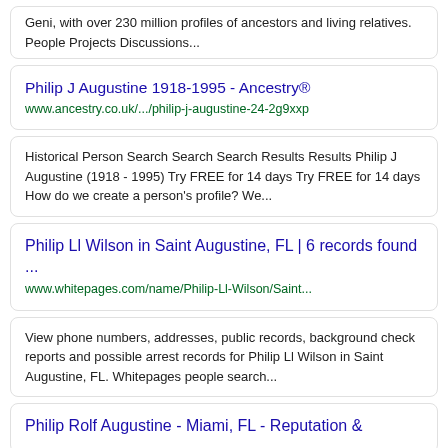Geni, with over 230 million profiles of ancestors and living relatives. People Projects Discussions...
Philip J Augustine 1918-1995 - Ancestry®
www.ancestry.co.uk/.../philip-j-augustine-24-2g9xxp
Historical Person Search Search Search Results Results Philip J Augustine (1918 - 1995) Try FREE for 14 days Try FREE for 14 days How do we create a person's profile? We...
Philip Ll Wilson in Saint Augustine, FL | 6 records found ...
www.whitepages.com/name/Philip-Ll-Wilson/Saint...
View phone numbers, addresses, public records, background check reports and possible arrest records for Philip Ll Wilson in Saint Augustine, FL. Whitepages people search...
Philip Rolf Augustine - Miami, FL - Reputation &